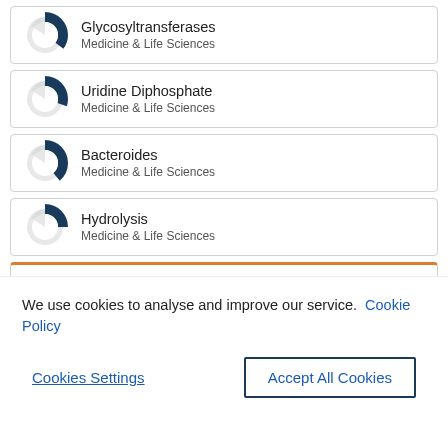[Figure (donut-chart): Donut chart showing approximately 60% fill, dark blue, for Glycosyltransferases]
Glycosyltransferases
Medicine & Life Sciences
[Figure (donut-chart): Donut chart showing approximately 55% fill, dark blue, for Uridine Diphosphate]
Uridine Diphosphate
Medicine & Life Sciences
[Figure (donut-chart): Donut chart showing approximately 65% fill, dark blue, for Bacteroides]
Bacteroides
Medicine & Life Sciences
[Figure (donut-chart): Donut chart showing approximately 50% fill, dark blue, for Hydrolysis]
Hydrolysis
Medicine & Life Sciences
We use cookies to analyse and improve our service. Cookie Policy
Cookies Settings
Accept All Cookies